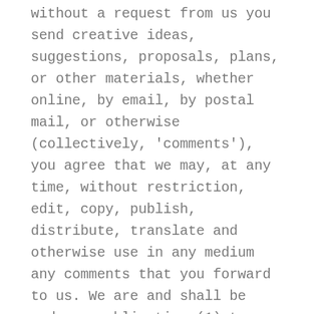without a request from us you send creative ideas, suggestions, proposals, plans, or other materials, whether online, by email, by postal mail, or otherwise (collectively, 'comments'), you agree that we may, at any time, without restriction, edit, copy, publish, distribute, translate and otherwise use in any medium any comments that you forward to us. We are and shall be under no obligation (1) to maintain any comments in confidence; (2) to pay compensation for any comments; or (3) to respond to any comments. We may, but have no obligation to, monitor, edit or remove content that we determine in our sole discretion are unlawful, offensive, threatening, libelous, defamatory, pornographic, obscene or